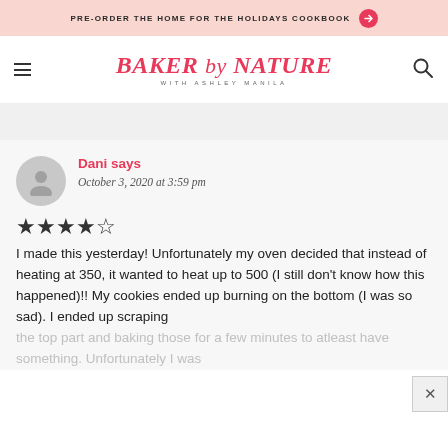PRE-ORDER THE HOME FOR THE HOLIDAYS COOKBOOK →
[Figure (logo): Baker by Nature with Ashley Manila logo in red/pink serif font]
Dani says
October 3, 2020 at 3:59 pm
★★★★☆ (4 stars)
I made this yesterday! Unfortunately my oven decided that instead of heating at 350, it wanted to heat up to 500 (I still don't know how this happened)!! My cookies ended up burning on the bottom (I was so sad). I ended up scraping the top part and baking those for a few minutes to atleast have something. Unfortunately I was